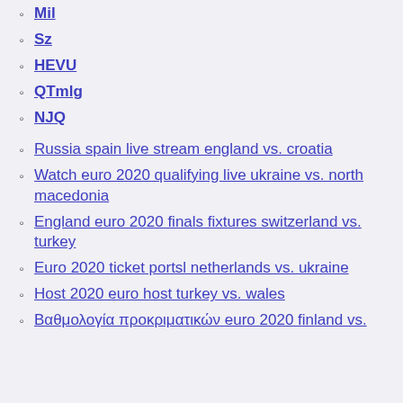Mil
Sz
HEVU
QTmlg
NJQ
Russia spain live stream england vs. croatia
Watch euro 2020 qualifying live ukraine vs. north macedonia
England euro 2020 finals fixtures switzerland vs. turkey
Euro 2020 ticket portsl netherlands vs. ukraine
Host 2020 euro host turkey vs. wales
Βαθμολογία προκριματικών euro 2020 finland vs.